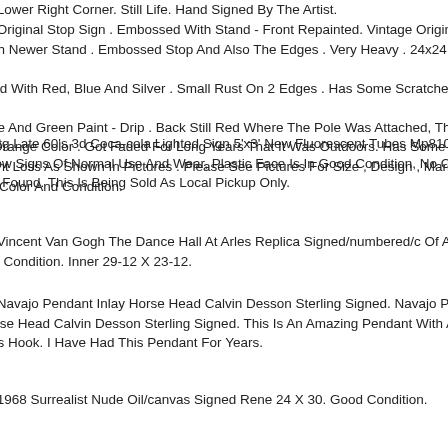ge Lower Right Corner. Still Life. Hand Signed By The Artist.
ge Original Stop Sign . Embossed With Stand - Front Repainted. Vintage Original With Newer Stand . Embossed Stop And Also The Edges . Very Heavy . 24x24 . Fr inted With Red, Blue And Silver . Small Rust On 2 Edges . Has Some Scratches. A Blue And Green Paint - Drip . Back Still Red Where The Pole Was Attached, The st Orange Color . Got Faded For Long Years That It Was Outdoors. Has Some Ru Paint Loss As Shown In Pictures . Please See Pictures For Size , Design , Markin ls , Color And Condition.
e Vtg Late 60's 3d Coca-cola Lighted Sign 5'x3' New Fluorescent Tubes Mp810. T Show Signs Of Normal Use And Wear, Plastic Face Is In Good Condition, No Crac I've Found. This Is Being Sold As Local Pickup Only.
ge Vincent Van Gogh The Dance Hall At Arles Replica Signed/numbered/c Of A. lent Condition. Inner 29-12 X 23-12.
ge Navajo Pendant Inlay Horse Head Calvin Desson Sterling Signed. Navajo Pen Horse Head Calvin Desson Sterling Signed. This Is An Amazing Pendant With A ards Hook. I Have Had This Pendant For Years.
ge 1968 Surrealist Nude Oil/canvas Signed Rene 24 X 30. Good Condition.